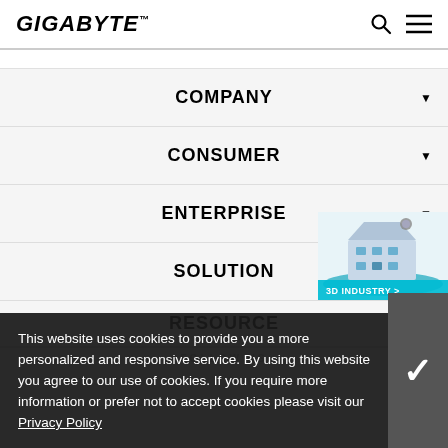GIGABYTE™
COMPANY
CONSUMER
ENTERPRISE
SOLUTION
RESOURCE
[Figure (illustration): 3D Industry isometric building illustration with '3D INDUSTRY >' label]
This website uses cookies to provide you a more personalized and responsive service. By using this website you agree to our use of cookies. If you require more information or prefer not to accept cookies please visit our Privacy Policy